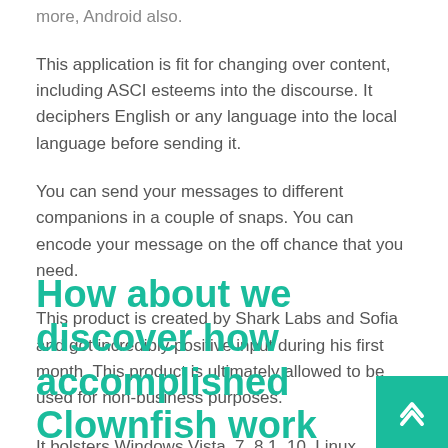more, Android also.
This application is fit for changing over content, including ASCI esteems into the discourse. It deciphers English or any language into the local language before sending it.
You can send your messages to different companions in a couple of snaps. You can encode your message on the off chance that you need.
This product is created by Shark Labs and Sofia and got incredibly positive input during his first month. This product is ultimately allowed to be used for non-business purposes.
It bolsters Windows Vista, 7, 8.1, 10, Linux (Debian), Android, and IOS. Get familiar with our freeware programming.
How about we discover how accomplished Clownfish work